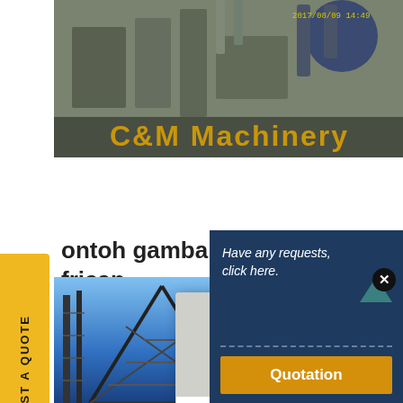[Figure (photo): C&M Machinery factory/industrial equipment header banner with timestamp 2017/08/09 14:49]
ontoh gambar layout conveyor - frican
F Impact ... gy
om the w...
npact crusher it can be used to dea
[Figure (screenshot): Live chat popup overlay with workers in hard hats, LIVE CHAT heading, Click for a Free Consultation, Chat now and Chat later buttons]
[Figure (photo): Customer service agent photo on right side with headset]
[Figure (photo): Bottom industrial steel structure photo with blue sky]
[Figure (infographic): Quotation box with navy background: Have any requests, click here. and Quotation button]